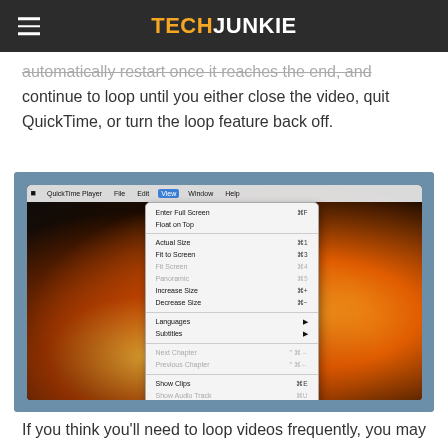TECHJUNKIE
automatically restart once it reaches the end, and continue to loop until you either close the video, quit QuickTime, or turn the loop feature back off.
[Figure (screenshot): QuickTime Player on macOS showing the View menu open with Loop option highlighted at the bottom, displayed over a video of fire/flames.]
If you think you'll need to loop videos frequently, you may want to remember the keyboard shortcut Option-